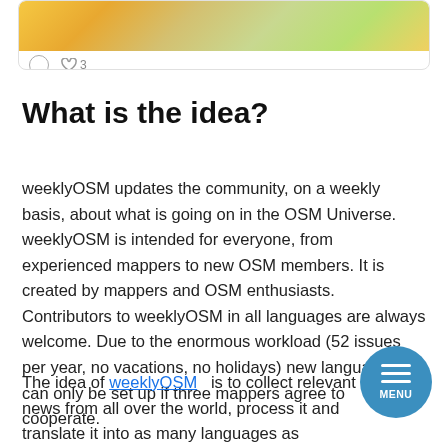[Figure (screenshot): Top portion of a social media card showing a colorful map image with interaction icons (comment and heart/like with count 3) at the bottom]
What is the idea?
weeklyOSM updates the community, on a weekly basis, about what is going on in the OSM Universe. weeklyOSM is intended for everyone, from experienced mappers to new OSM members. It is created by mappers and OSM enthusiasts. Contributors to weeklyOSM in all languages are always welcome. Due to the enormous workload (52 issues per year, no vacations, no holidays) new languages can only be set up if three mappers agree to cooperate.
The idea of weeklyOSM is to collect relevant news from all over the world, process it and translate it into as many languages as possible. This should